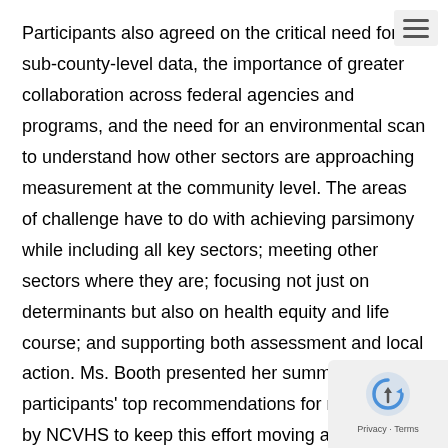Participants also agreed on the critical need for sub-county-level data, the importance of greater collaboration across federal agencies and programs, and the need for an environmental scan to understand how other sectors are approaching measurement at the community level. The areas of challenge have to do with achieving parsimony while including all key sectors; meeting other sectors where they are; focusing not just on determinants but also on health equity and life course; and supporting both assessment and local action. Ms. Booth presented her summary of the participants' top recommendations for next steps by NCVHS to keep this effort moving ahead.
Dr. Stead said the Subcommittee would present a summary report on the workshop at the February meeting, not including any recommendations.
Dr. Cohen outlined the themes taking shape for development